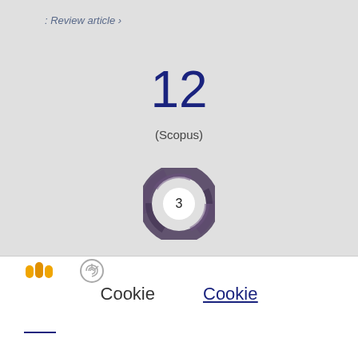: Review article ›
12
(Scopus)
[Figure (other): Altmetric donut badge showing score 3, rendered as a circular swirling purple/dark design with white center showing the number 3]
Cookie
Cookie